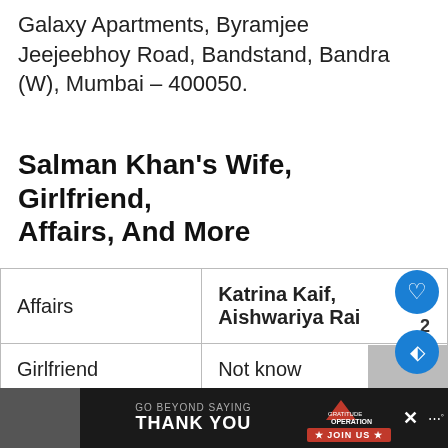Galaxy Apartments, Byramjee Jeejeebhoy Road, Bandstand, Bandra (W), Mumbai – 400050.
Salman Khan's Wife, Girlfriend, Affairs, And More
| Affairs | Katrina Kaif, Aishwariya Rai |
| Girlfriend | Not know |
|  | Sanjay Datt, Ajay |
[Figure (screenshot): Advertisement banner: GO BEYOND SAYING THANK YOU – Operation Gratitude JOIN US]